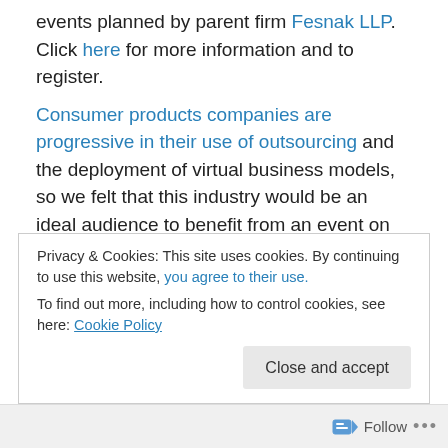events planned by parent firm Fesnak LLP. Click here for more information and to register.
Consumer products companies are progressive in their use of outsourcing and the deployment of virtual business models, so we felt that this industry would be an ideal audience to benefit from an event on outsourcing. Experts in functional areas such as finance/accounting, manufacturing/sourcing, logistics/fulfillment, and marketing will present best practices and emerging trends that consumer product companies should be aware of, whether
Privacy & Cookies: This site uses cookies. By continuing to use this website, you agree to their use.
To find out more, including how to control cookies, see here: Cookie Policy
Close and accept
Follow ···